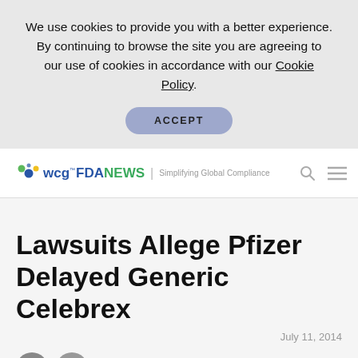We use cookies to provide you with a better experience. By continuing to browse the site you are agreeing to our use of cookies in accordance with our Cookie Policy.
ACCEPT
[Figure (logo): WCG FDA NEWS logo with colored dot cluster and tagline 'Simplifying Global Compliance']
Lawsuits Allege Pfizer Delayed Generic Celebrex
July 11, 2014